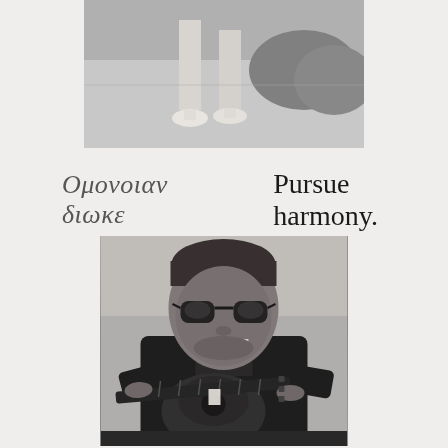[Figure (photo): Black and white photograph showing the lower portion of a person — legs and white shoes/pumps — standing on a sidewalk or path, with shrubs visible to the right.]
Ομονοιαν διωκε    Pursue harmony.
[Figure (photo): Black and white portrait photograph of an older man wearing aviator sunglasses and a dark jacket, with a cigarette in his mouth, playing a guitar or bouzouki-type string instrument. He appears to be a street musician.]